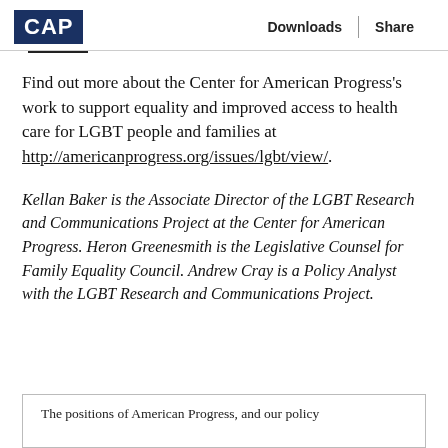CAP   Downloads   Share
Find out more about the Center for American Progress's work to support equality and improved access to health care for LGBT people and families at http://americanprogress.org/issues/lgbt/view/.
Kellan Baker is the Associate Director of the LGBT Research and Communications Project at the Center for American Progress. Heron Greenesmith is the Legislative Counsel for Family Equality Council. Andrew Cray is a Policy Analyst with the LGBT Research and Communications Project.
The positions of American Progress, and our policy